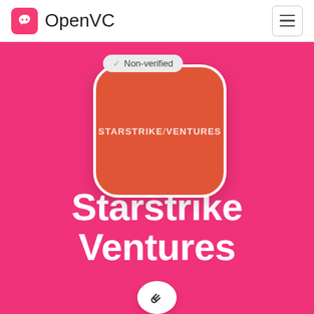OpenVC
[Figure (logo): Starstrike Ventures company profile page on OpenVC. Pink/magenta hero background with orange rounded square logo showing 'STARSTRIKE/VENTURES' text. A 'Non-verified' badge appears above the logo. The company name 'Starstrike Ventures' appears in large white bold text below the logo, with a link icon button at the bottom.]
Starstrike Ventures